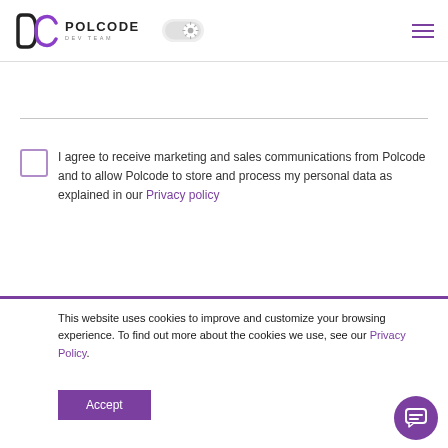[Figure (logo): Polcode Dev Team logo with stylized DC letters in black and purple, followed by POLCODE text and DEV TEAM subtitle]
[Figure (screenshot): Light/dark mode toggle button]
[Figure (other): Hamburger menu icon with purple lines]
I agree to receive marketing and sales communications from Polcode and to allow Polcode to store and process my personal data as explained in our Privacy policy
This website uses cookies to improve and customize your browsing experience. To find out more about the cookies we use, see our Privacy Policy.
Accept